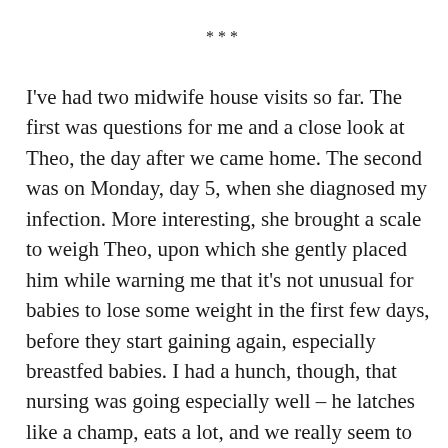***
I've had two midwife house visits so far. The first was questions for me and a close look at Theo, the day after we came home. The second was on Monday, day 5, when she diagnosed my infection. More interesting, she brought a scale to weigh Theo, upon which she gently placed him while warning me that it's not unusual for babies to lose some weight in the first few days, before they start gaining again, especially breastfed babies. I had a hunch, though, that nursing was going especially well – he latches like a champ, eats a lot, and we really seem to be in sync. My hunch was correct, Theo gained and weighed in at  7 pounds